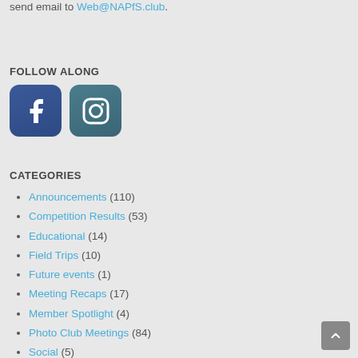send email to Web@NAPfS.club.
FOLLOW ALONG
[Figure (illustration): Facebook and Instagram social media icon buttons]
CATEGORIES
Announcements (110)
Competition Results (53)
Educational (14)
Field Trips (10)
Future events (1)
Meeting Recaps (17)
Member Spotlight (4)
Photo Club Meetings (84)
Social (5)